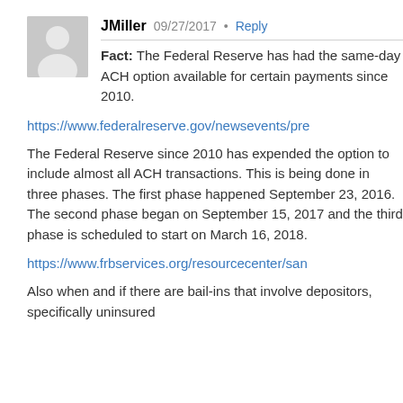[Figure (photo): User avatar — grey silhouette of a person on a grey background]
JMiller  09/27/2017 · Reply
Fact: The Federal Reserve has had the same-day ACH option available for certain payments since 2010.
https://www.federalreserve.gov/newsevents/pre
The Federal Reserve since 2010 has expended the option to include almost all ACH transactions. This is being done in three phases. The first phase happened September 23, 2016. The second phase began on September 15, 2017 and the third phase is scheduled to start on March 16, 2018.
https://www.frbservices.org/resourcecenter/san
Also when and if there are bail-ins that involve depositors, specifically uninsured